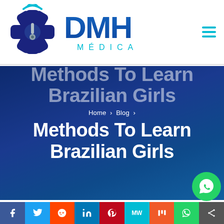DMH Médica — navigation header with logo and hamburger menu
[Figure (logo): DMH Médica logo: blue star-of-life icon with wifi/signal arcs on top, text 'DMH' in large bold blue gradient letters and 'MÉDICA' in cyan smaller letters below]
Methods To Learn Brazilian Girls
Home › Blog ›
Methods To Learn Brazilian Girls